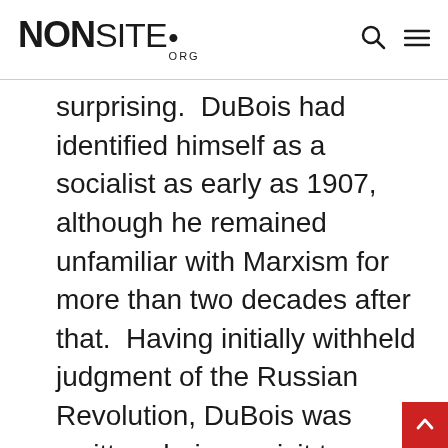NONSITE.ORG
surprising.  DuBois had identified himself as a socialist as early as 1907, although he remained unfamiliar with Marxism for more than two decades after that.  Having initially withheld judgment of the Russian Revolution, DuBois was smitten during a visit to Russia in 1925.  A few years later, with the onset of the Great Depression, DuBois